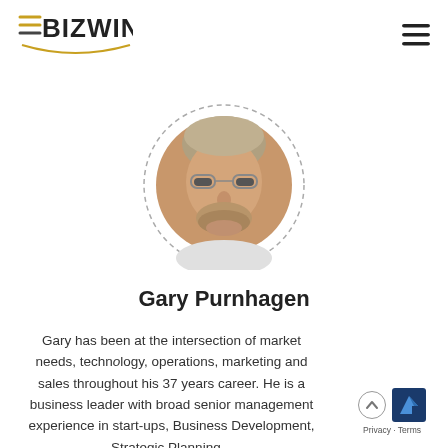[Figure (logo): BizWin logo with gold equals/lines icon and swoosh arc beneath text]
[Figure (photo): Circular dashed-border portrait photo of Gary Purnhagen, a middle-aged man with glasses and light brown/grey hair]
Gary Purnhagen
Gary has been at the intersection of market needs, technology, operations, marketing and sales throughout his 37 years career. He is a business leader with broad senior management experience in start-ups, Business Development, Strategic Planning...